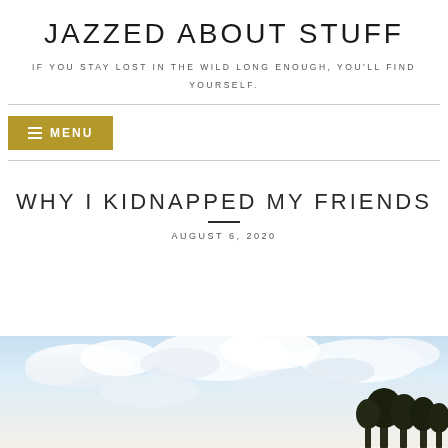JAZZED ABOUT STUFF
IF YOU STAY LOST IN THE WILD LONG ENOUGH, YOU'LL FIND YOURSELF.
≡ MENU
WHY I KIDNAPPED MY FRIENDS
AUGUST 6, 2020
[Figure (photo): Outdoor scene with sky and clouds, silhouette of trees at the bottom right edge]